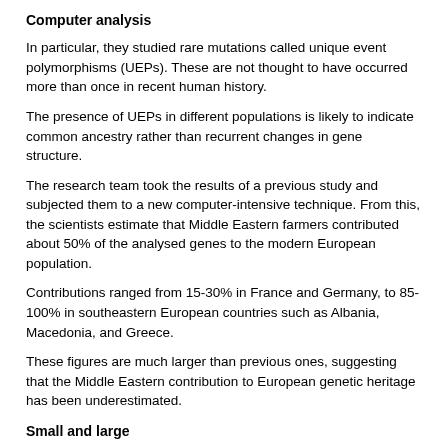Computer analysis
In particular, they studied rare mutations called unique event polymorphisms (UEPs). These are not thought to have occurred more than once in recent human history.
The presence of UEPs in different populations is likely to indicate common ancestry rather than recurrent changes in gene structure.
The research team took the results of a previous study and subjected them to a new computer-intensive technique. From this, the scientists estimate that Middle Eastern farmers contributed about 50% of the analysed genes to the modern European population.
Contributions ranged from 15-30% in France and Germany, to 85-100% in southeastern European countries such as Albania, Macedonia, and Greece.
These figures are much larger than previous ones, suggesting that the Middle Eastern contribution to European genetic heritage has been underestimated.
Small and large
"Archaeologists have shown that farming moved from the Near East to North West Europe... but we've never known how it happened," Dr Chikhi told the BBC.
"We know that farming came along to Europe, but...